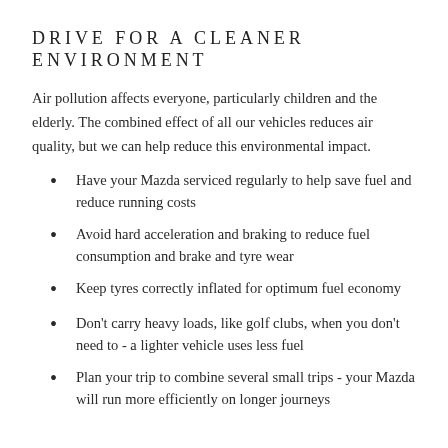DRIVE FOR A CLEANER ENVIRONMENT
Air pollution affects everyone, particularly children and the elderly. The combined effect of all our vehicles reduces air quality, but we can help reduce this environmental impact.
Have your Mazda serviced regularly to help save fuel and reduce running costs
Avoid hard acceleration and braking to reduce fuel consumption and brake and tyre wear
Keep tyres correctly inflated for optimum fuel economy
Don't carry heavy loads, like golf clubs, when you don't need to - a lighter vehicle uses less fuel
Plan your trip to combine several small trips - your Mazda will run more efficiently on longer journeys